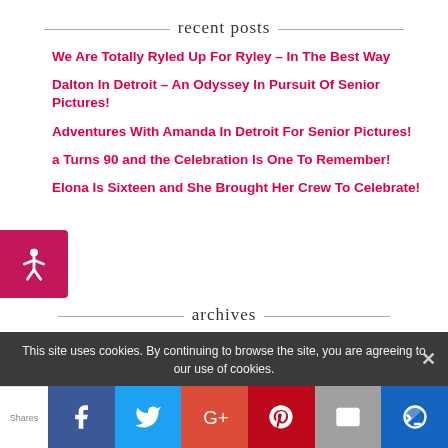recent posts
We Are Totally Ryled Up For Ryley – In The Best Way
Dalton In Detroit – An Odyssey In Pursuit Of Senior Pictures!
Adventures With Amanda In Detroit For Senior Pictures!
a Turns 90 and the Celebration Is One To Remember!
Elona Is Sixteen and She Brought Her Crew To Celebrate!
archives
This site uses cookies. By continuing to browse the site, you are agreeing to our use of cookies.
Shares | Facebook | Twitter | Google+ | Pinterest | Email | Crown